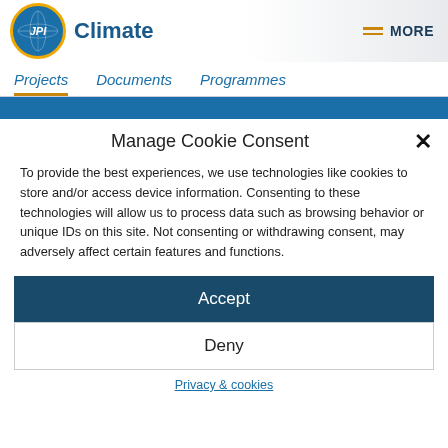[Figure (logo): JPI Climate logo with globe icon and text 'JPI Climate']
MORE
Projects   Documents   Programmes
Manage Cookie Consent
To provide the best experiences, we use technologies like cookies to store and/or access device information. Consenting to these technologies will allow us to process data such as browsing behavior or unique IDs on this site. Not consenting or withdrawing consent, may adversely affect certain features and functions.
Accept
Deny
Privacy & cookies